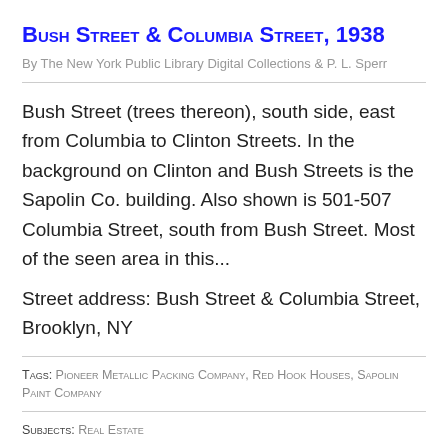Bush Street & Columbia Street, 1938
By The New York Public Library Digital Collections & P. L. Sperr
Bush Street (trees thereon), south side, east from Columbia to Clinton Streets. In the background on Clinton and Bush Streets is the Sapolin Co. building. Also shown is 501-507 Columbia Street, south from Bush Street. Most of the seen area in this...
Street address: Bush Street & Columbia Street, Brooklyn, NY
Tags: Pioneer Metallic Packing Company, Red Hook Houses, Sapolin Paint Company
Subjects: Real Estate